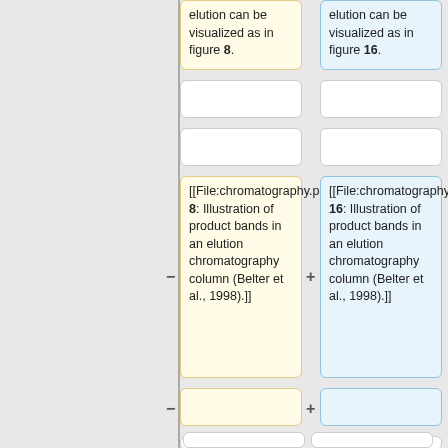elution can be visualized as in figure 8.
elution can be visualized as in figure 16.
[[File:chromatography.png|frame|center|Fig. 8: Illustration of product bands in an elution chromatography column (Belter et al., 1998).]]
[[File:chromatography.png|frame|center|Fig. 16: Illustration of product bands in an elution chromatography column (Belter et al., 1998).]]
==== Size Exclusion Chromatography
==== Size Exclusion Chromatography